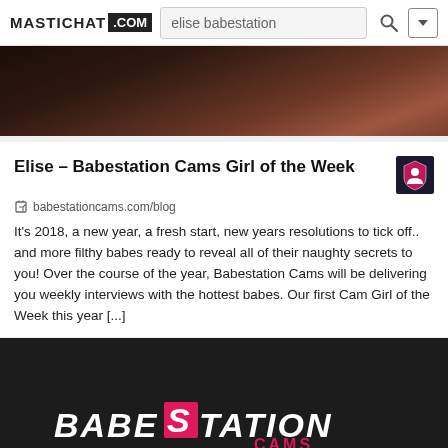MASTICHAT .COM | elise babestation
[Figure (photo): Dark brownish/warm toned partial image, appears to be a blurred close-up, dark at top fading to warm brown tones]
Elise – Babestation Cams Girl of the Week
babestationcams.com/blog
It's 2018, a new year, a fresh start, new years resolutions to tick off.. and more filthy babes ready to reveal all of their naughty secrets to you! Over the course of the year, Babestation Cams will be delivering you weekly interviews with the hottest babes. Our first Cam Girl of the Week this year [...]
[Figure (screenshot): Dark background image showing the BabeStation Cams logo text in white and pink stylized font at the bottom]